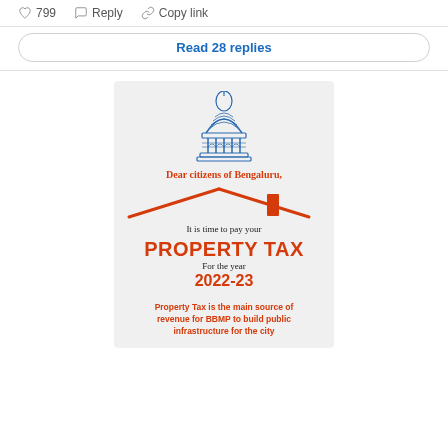799  Reply  Copy link
Read 28 replies
[Figure (infographic): BBMP property tax payment reminder flyer with a blue dome/temple illustration, red rooftop graphic, text reading Dear citizens of Bengaluru, It is time to pay your PROPERTY TAX for the year 2022-23, Property Tax is the main source of revenue for BBMP to build public infrastructure for the city]